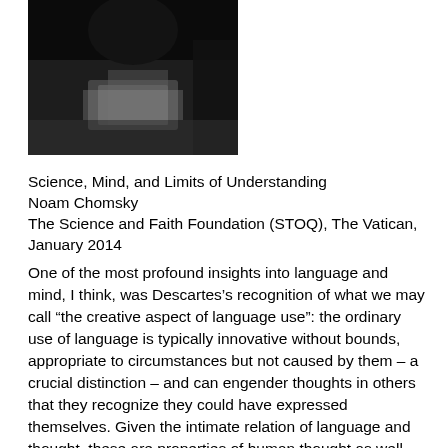[Figure (photo): Black and white photograph of a person, appears to be speaking or at a podium, cropped at top of page]
Science, Mind, and Limits of Understanding
Noam Chomsky
The Science and Faith Foundation (STOQ), The Vatican, January 2014
One of the most profound insights into language and mind, I think, was Descartes’s recognition of what we may call “the creative aspect of language use”: the ordinary use of language is typically innovative without bounds, appropriate to circumstances but not caused by them – a crucial distinction – and can engender thoughts in others that they recognize they could have expressed themselves. Given the intimate relation of language and thought, these are properties of human thought as well. This insight is the primary basis for Descartes’s scientific theory of mind and body. There is no